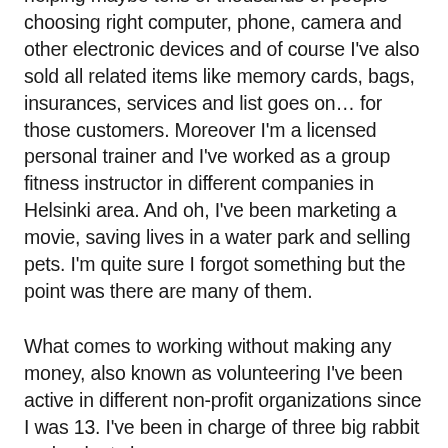helping maybe tens of thousands of people choosing right computer, phone, camera and other electronic devices and of course I've also sold all related items like memory cards, bags, insurances, services and list goes on… for those customers. Moreover I'm a licensed personal trainer and I've worked as a group fitness instructor in different companies in Helsinki area. And oh, I've been marketing a movie, saving lives in a water park and selling pets. I'm quite sure I forgot something but the point was there are many of them.
What comes to working without making any money, also known as volunteering I've been active in different non-profit organizations since I was 13. I've been in charge of three big rabbit and rodent show